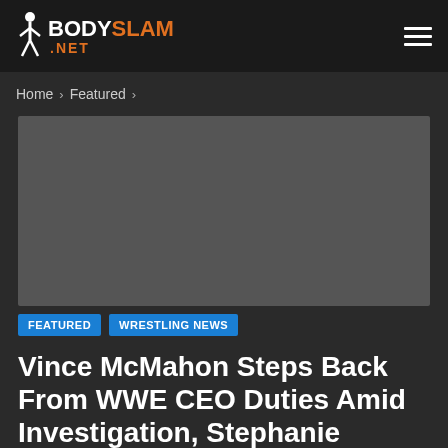BODYSLAM.NET
Home > Featured >
[Figure (photo): Dark gray placeholder image for article thumbnail]
FEATURED   WRESTLING NEWS
Vince McMahon Steps Back From WWE CEO Duties Amid Investigation, Stephanie McMahon Named Interim CEO